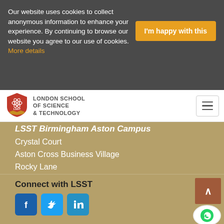Our website uses cookies to collect anonymous information to enhance your experience. By continuing to browse our website you agree to our use of cookies. More details
I'm happy with this
[Figure (logo): London School of Science & Technology shield logo with LSST text]
LONDON SCHOOL OF SCIENCE & TECHNOLOGY
LSST Birmingham Aston Campus
Crystal Court
Aston Cross Business Village
Rocky Lane
Birmingham
B6 5RQ
0121 643 6774
Connect with LSST
[Figure (illustration): Social media icons: Facebook, Twitter, LinkedIn]